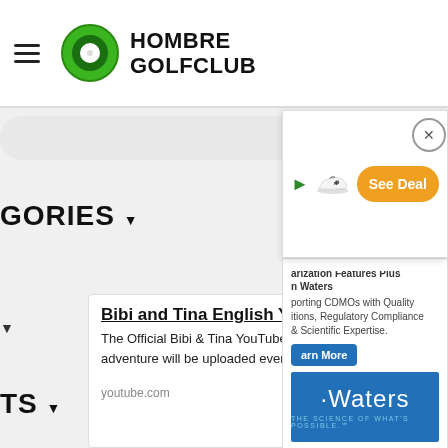[Figure (screenshot): Hombre Golfclub website header with hamburger menu, green circle logo, and bold text logo]
[Figure (screenshot): Advertisement overlay showing a New Balance shoe with an orange 'See Deal' button and a close X button]
[Figure (screenshot): Waters brand advertisement popup with text about CDMOs, a 'Learn More' button, and blue Waters logo box]
GORIES ▾
▾
TS ▾
[Figure (screenshot): Bottom advertisement for 'Bibi and Tina English YouTube' channel with Subscribe button]